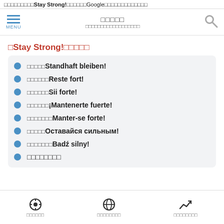□□□□□□□□□Stay Strong!□□□□□□Google□□□□□□□□□□□□□
MENU | □□□□□ | □□□□□□□□□□□□□□□□□□
□Stay Strong!□□□□□
□□□□□Standhaft bleiben!
□□□□□□Reste fort!
□□□□□□Sii forte!
□□□□□□¡Mantenerte fuerte!
□□□□□□□Manter-se forte!
□□□□□Оставайся сильным!
□□□□□□□Badź silny!
□□□□□□□□
□□□□□□ | □□□□□□□□ | □□□□□□□□